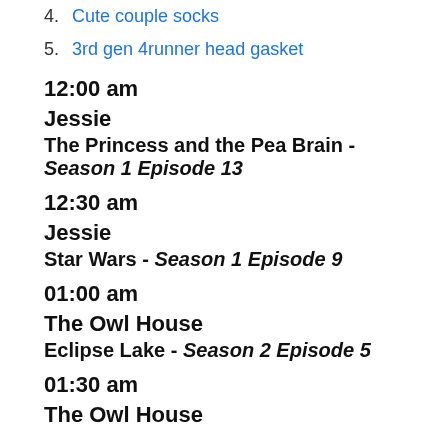4. Cute couple socks
5. 3rd gen 4runner head gasket
12:00 am
Jessie
The Princess and the Pea Brain - Season 1 Episode 13
12:30 am
Jessie
Star Wars - Season 1 Episode 9
01:00 am
The Owl House
Eclipse Lake - Season 2 Episode 5
01:30 am
The Owl House